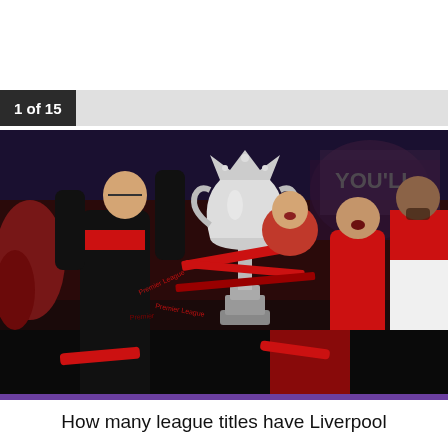1 of 15
[Figure (photo): Liverpool football players celebrating with the Premier League trophy, with manager Jurgen Klopp lifting the trophy. Players wearing red jerseys, crowd cheering in background.]
How many league titles have Liverpool